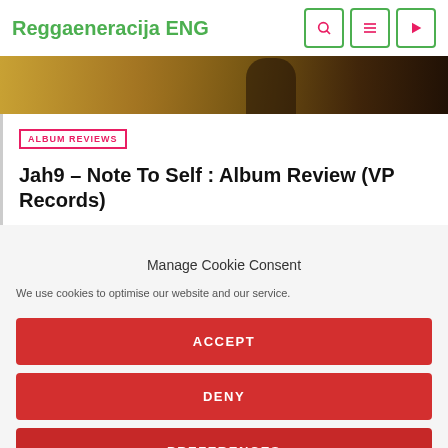Reggaeneracija ENG
[Figure (photo): Partial photo strip showing figures against a golden/brown field background]
ALBUM REVIEWS
Jah9 – Note To Self : Album Review (VP Records)
Manage Cookie Consent
We use cookies to optimise our website and our service.
ACCEPT
DENY
PREFERENCES